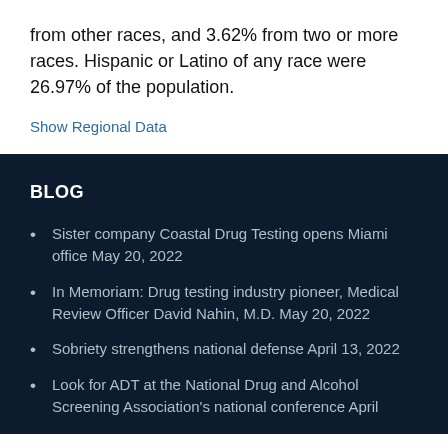from other races, and 3.62% from two or more races. Hispanic or Latino of any race were 26.97% of the population.
Show Regional Data
BLOG
Sister company Coastal Drug Testing opens Miami office May 20, 2022
In Memoriam: Drug testing industry pioneer, Medical Review Officer David Nahin, M.D. May 20, 2022
Sobriety strengthens national defense April 13, 2022
Look for ADT at the National Drug and Alcohol Screening Association's national conference April